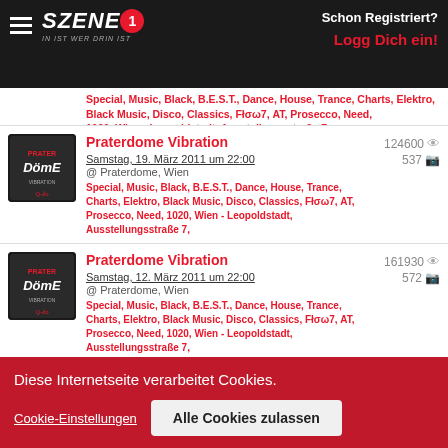SZENE1 – Schon Registriert? Logg Dich ein!
Special, Music, Black, B.E.S.T., Dance, House, Trance, Charts, Elektro, Black Music, Disco, Classics, Fłσω7, AT, Prosecco, Need, 1020, Wien - Leopoldstadt, Ausstellungsstraße 7,
Praterdome Vibration
Samstag, 19. März 2011 um 22:00
@ Praterdome, Wien
Special, Music, Black, B.E.S.T., Dance, House, Trance, Charts, Elektro, Black Music, Disco, Classics, Fłσω7, AT, Prosecco, Need, 1020, Wien - Leopoldstadt, Ausstellungsstraße 7,
124600 views 537 photos
Praterdome Vibration
Samstag, 12. März 2011 um 22:00
@ Praterdome, Wien
Special, Music, Black, B.E.S.T., Dance, House, Trance, Charts, Elektro, Black Music, Disco, Classics, Fłσω7, AT, Prosecco, Need, 1020, Wien - Leopoldstadt, Ausstellungsstraße 7,
161930 views 572 photos
Praterdome Vibration (partial)
Diese Internetseite verarbeitet Cookies.
Cookie-Einstellungen
Alle Cookies zulassen